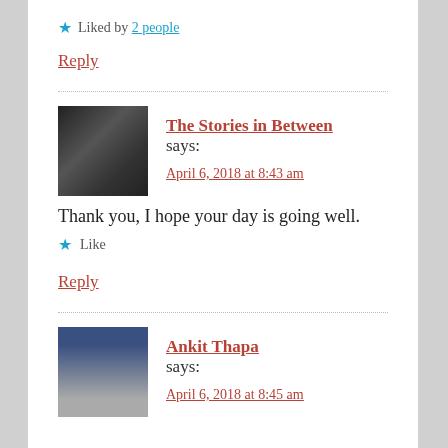★ Liked by 2 people
Reply
The Stories in Between says:
April 6, 2018 at 8:43 am
Thank you, I hope your day is going well.
★ Like
Reply
Ankit Thapa says:
April 6, 2018 at 8:45 am